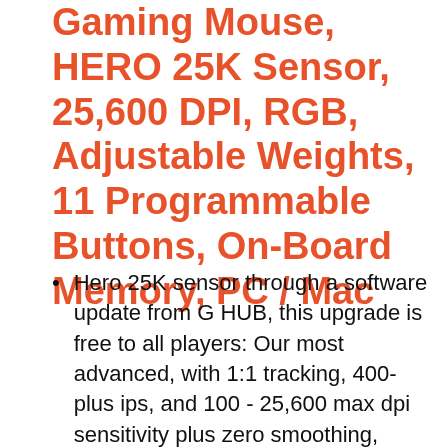Gaming Mouse, HERO 25K Sensor, 25,600 DPI, RGB, Adjustable Weights, 11 Programmable Buttons, On-Board Memory, PC / Mac
Hero 25K sensor through a software update from G HUB, this upgrade is free to all players: Our most advanced, with 1:1 tracking, 400-plus ips, and 100 - 25,600 max dpi sensitivity plus zero smoothing, filtering, or acceleration